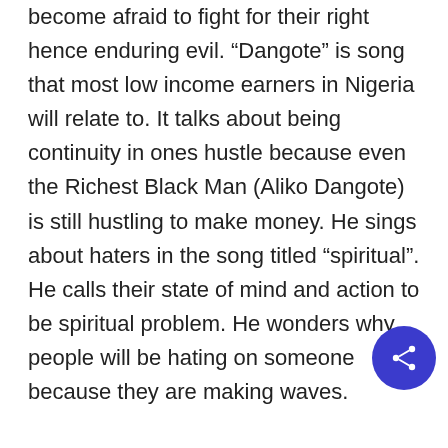become afraid to fight for their right hence enduring evil. “Dangote” is song that most low income earners in Nigeria will relate to. It talks about being continuity in ones hustle because even the Richest Black Man (Aliko Dangote) is still hustling to make money. He sings about haters in the song titled “spiritual”. He calls their state of mind and action to be spiritual problem. He wonders why people will be hating on someone because they are making waves. In summary he tried to use his song to talk about the mentality and state of mind of